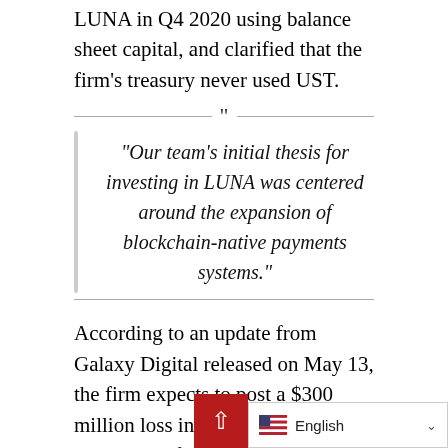LUNA in Q4 2020 using balance sheet capital, and clarified that the firm’s treasury never used UST.
“Our team’s initial thesis for investing in LUNA was centered around the expansion of blockchain-native payments systems.”
According to an update from Galaxy Digital released on May 13, the firm expects to post a $300 million loss in net comprehensive income as of May 11, bringing the partners’ capital to $2.2 billion — a 12% decline from March 31.
Pantera Capital, one of the original investors in Terraform Labs, revealed today that it had cashed out roughly 80% of its LUNA investment well before the TerraUSD collapse. According to Pantera partner Paul Vera…